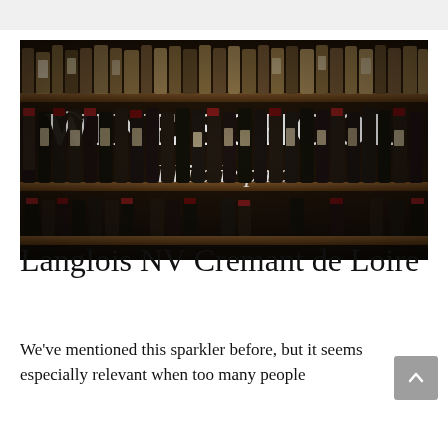[Figure (photo): Wine School Philadelphia banner image — a dark photograph of wine bottles on shelves with 'WINE SCHOOL' in large bold white serif text and 'Philadelphia' in white italic script below it]
Langlois NV Cremant de Loire
We've mentioned this sparkler before, but it seems especially relevant when too many people